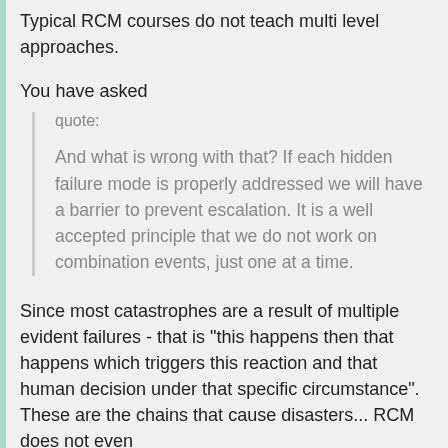Typical RCM courses do not teach multi level approaches.
You have asked
quote:

And what is wrong with that? If each hidden failure mode is properly addressed we will have a barrier to prevent escalation. It is a well accepted principle that we do not work on combination events, just one at a time.
Since most catastrophes are a result of multiple evident failures - that is "this happens then that happens which triggers this reaction and that human decision under that specific circumstance". These are the chains that cause disasters... RCM does not even